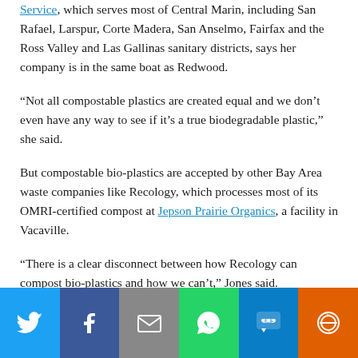Service, which serves most of Central Marin, including San Rafael, Larspur, Corte Madera, San Anselmo, Fairfax and the Ross Valley and Las Gallinas sanitary districts, says her company is in the same boat as Redwood.
“Not all compostable plastics are created equal and we don’t even have any way to see if it’s a true biodegradable plastic,” she said.
But compostable bio-plastics are accepted by other Bay Area waste companies like Recology, which processes most of its OMRI-certified compost at Jepson Prairie Organics, a facility in Vacaville.
“There is a clear disconnect between how Recology can compost bio-plastics and how we can’t,” Jones said.
[Figure (infographic): Social share bar with six buttons: Twitter (blue), Facebook (dark blue), Email (gray), WhatsApp (green), SMS (blue), More (orange)]